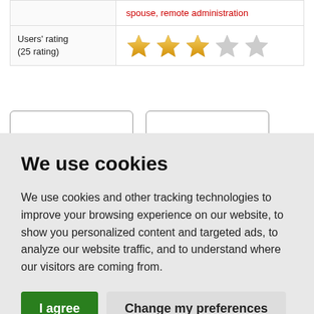spouse, remote administration
| Users' rating
(25 rating) | ★★★☆☆ |
We use cookies
We use cookies and other tracking technologies to improve your browsing experience on our website, to show you personalized content and targeted ads, to analyze our website traffic, and to understand where our visitors are coming from.
I agree | Change my preferences